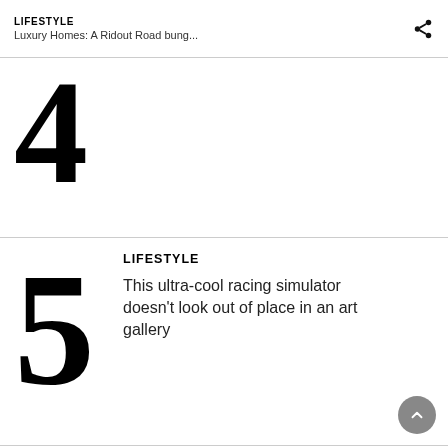LIFESTYLE
Luxury Homes: A Ridout Road bung...
4
LIFESTYLE
This ultra-cool racing simulator doesn't look out of place in an art gallery
5
LIFESTYLE
Five things to know as Singapore moves to repeal Section 377A
6